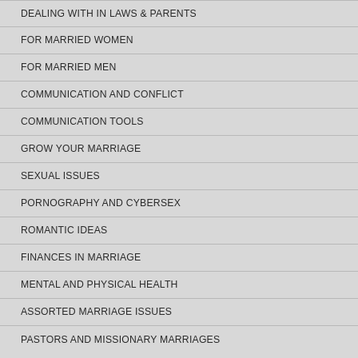DEALING WITH IN LAWS & PARENTS
FOR MARRIED WOMEN
FOR MARRIED MEN
COMMUNICATION AND CONFLICT
COMMUNICATION TOOLS
GROW YOUR MARRIAGE
SEXUAL ISSUES
PORNOGRAPHY AND CYBERSEX
ROMANTIC IDEAS
FINANCES IN MARRIAGE
MENTAL AND PHYSICAL HEALTH
ASSORTED MARRIAGE ISSUES
PASTORS AND MISSIONARY MARRIAGES